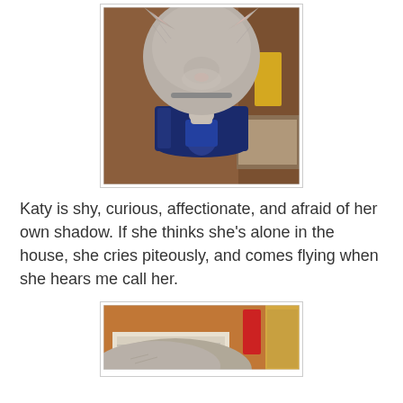[Figure (photo): A gray cat leaning its head down into a dark blue drinking glass on a wooden surface, with books and other items visible in the background.]
Katy is shy, curious, affectionate, and afraid of her own shadow. If she thinks she's alone in the house, she cries piteously, and comes flying when she hears me call her.
[Figure (photo): Partial view of a cat resting on or near papers/books on a wooden surface, with a red object visible in the background.]